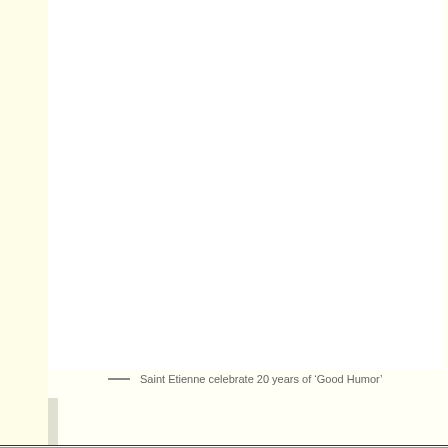[Figure (photo): Large white/blank image area taking up majority of the page]
— Saint Etienne celebrate 20 years of 'Good Humor'